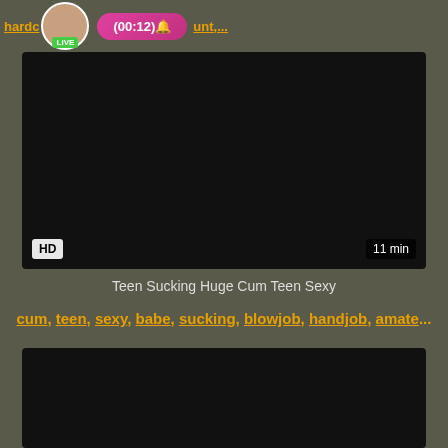[Figure (screenshot): Top live stream banner with avatar, LIVE badge, pink button showing (00:12), and truncated orange link text on dark olive background]
[Figure (screenshot): Video thumbnail - black/dark content area with HD badge bottom-left and '11 min' duration badge bottom-right]
Teen Sucking Huge Cum Teen Sexy
cum, teen, sexy, babe, sucking, blowjob, handjob, amate...
[Figure (screenshot): Second video thumbnail - black/dark content area, partially visible at bottom of page]